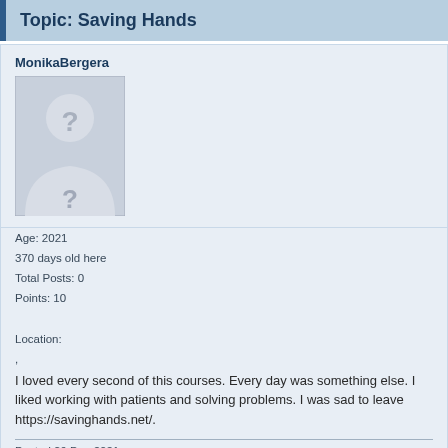Topic: Saving Hands
MonikaBergera
[Figure (illustration): Default avatar placeholder silhouette with question mark]
Age: 2021
370 days old here
Total Posts: 0
Points: 10

Location:
,
I loved every second of this courses. Every day was something else. I liked working with patients and solving problems. I was sad to leave https://savinghands.net/.
Posted 29 Dec 2021
Topic: Ultrasonic Pest Repeller Reviews?